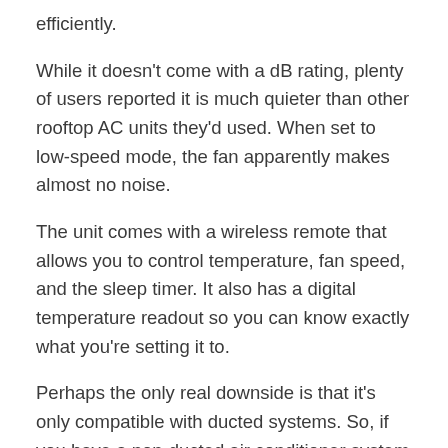efficiently.
While it doesn't come with a dB rating, plenty of users reported it is much quieter than other rooftop AC units they'd used. When set to low-speed mode, the fan apparently makes almost no noise.
The unit comes with a wireless remote that allows you to control temperature, fan speed, and the sleep timer. It also has a digital temperature readout so you can know exactly what you're setting it to.
Perhaps the only real downside is that it's only compatible with ducted systems. So, if you have a non-ducted air conditioner system in your RV, look for a different unit. In fact, Atwood does an equivalent non-ducted model.